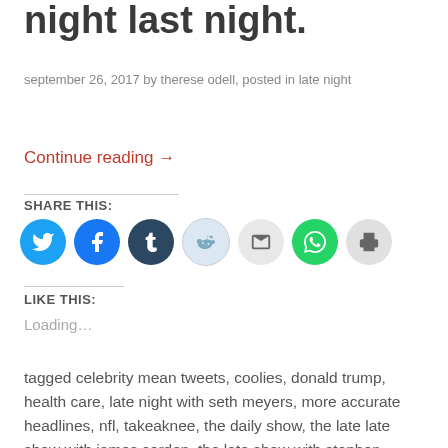night last night.
september 26, 2017 by therese odell, posted in late night
Continue reading →
SHARE THIS:
[Figure (other): Row of social sharing icon circles: Twitter (blue), Facebook (blue), Tumblr (dark blue), Reddit (light blue/grey), Email (grey), WhatsApp (green), Print (grey)]
LIKE THIS:
Loading…
tagged celebrity mean tweets, coolies, donald trump, health care, late night with seth meyers, more accurate headlines, nfl, takeaknee, the daily show, the late late show with james corden, the late show with stephen colbert, the opposition